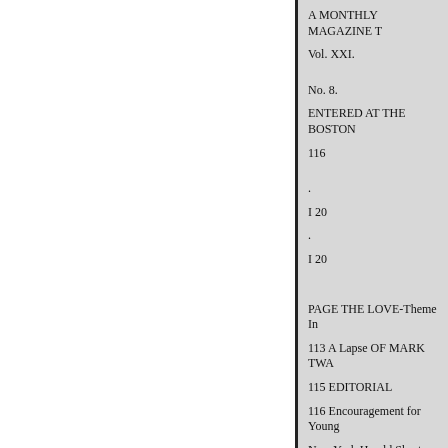A MONTHLY MAGAZINE T
Vol. XXI.
No. 8.
ENTERED AT THE BOSTON
116
.
I 20
.
I 20
PAGE THE LOVE-Theme In
113 A Lapse OF MARK TWA
115 EDITORIAL
116 Encouragement for Young
New York Herald Short-Story
OF THE DAY